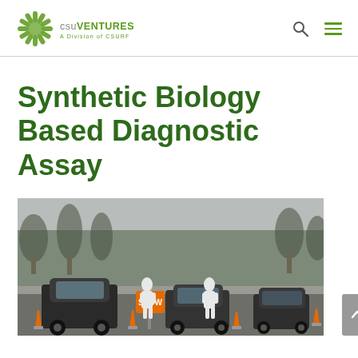CSU VENTURES — A Division of CSURF
Synthetic Biology Based Diagnostic Assay
[Figure (photo): Outdoor COVID-19 drive-through testing site. Workers in white hazmat suits stand between a line of vehicles. Orange traffic cones and a SLOW sign are visible. Bare winter trees line the background.]